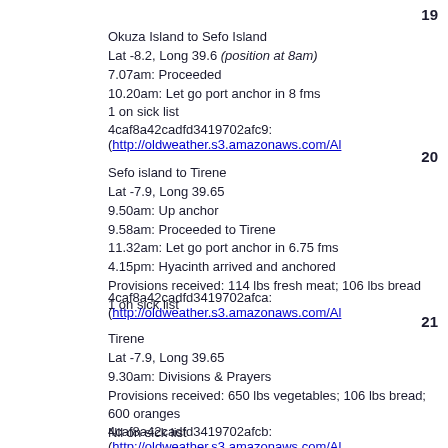19
Okuza Island to Sefo Island
Lat -8.2, Long 39.6 (position at 8am)
7.07am: Proceeded
10.20am: Let go port anchor in 8 fms
1 on sick list
4caf8a42cadfd3419702afc9: (http://oldweather.s3.amazonaws.com/Al
20
Sefo island to Tirene
Lat -7.9, Long 39.65
9.50am: Up anchor
9.58am: Proceeded to Tirene
11.32am: Let go port anchor in 6.75 fms
4.15pm: Hyacinth arrived and anchored
Provisions received: 114 lbs fresh meat; 106 lbs bread
1 on sick list
4caf8a42cadfd3419702afca: (http://oldweather.s3.amazonaws.com/Al
21
Tirene
Lat -7.9, Long 39.65
9.30am: Divisions & Prayers
Provisions received: 650 lbs vegetables; 106 lbs bread; 600 oranges
Nil on sick list
4caf8a42cadfd3419702afcb: (http://oldweather.s3.amazonaws.com/Al